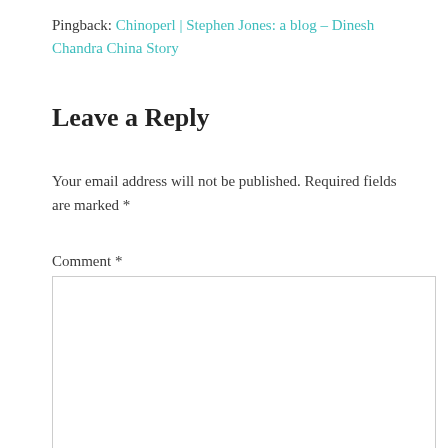Pingback: Chinoperl | Stephen Jones: a blog – Dinesh Chandra China Story
Leave a Reply
Your email address will not be published. Required fields are marked *
Comment *